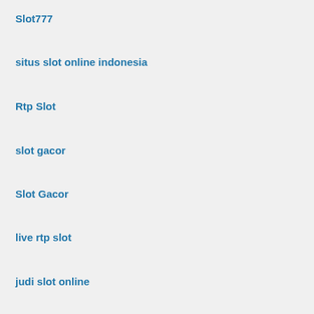Slot777
situs slot online indonesia
Rtp Slot
slot gacor
Slot Gacor
live rtp slot
judi slot online